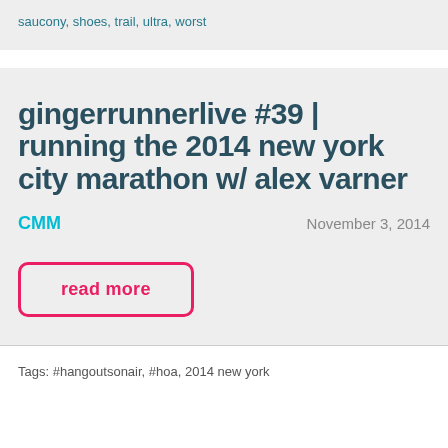saucony, shoes, trail, ultra, worst
gingerrunnerlive #39 | running the 2014 new york city marathon w/ alex varner
CMM
November 3, 2014
read more
Tags: #hangoutsonair, #hoa, 2014 new york